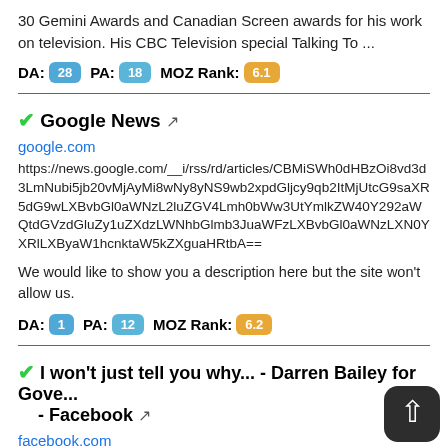30 Gemini Awards and Canadian Screen awards for his work on television. His CBC Television special Talking To ...
DA: 28  PA: 18  MOZ Rank: 6.1
✓Google News 🔗
google.com
https://news.google.com/__i/rss/rd/articles/CBMiSWh0dHBzOi8vd3d3LmNubi5jb20vMjAyMi8wNy8yNS9wb2xpdGljcy9qb2ItMjUtcG9saXR5dG9wLXBvbGl0aWNzL2luZGV4Lmh0bWw3UtYmlkZW40Y292aWQtdGVzdGluZy1uZXdzLWNhbGlmb3Ju...
We would like to show you a description here but the site won't allow us.
DA: 1  PA: 12  MOZ Rank: 6.2
✓I won't just tell you why... - Darren Bailey for Gove... - Facebook 🔗
facebook.com
https://www.facebook.com/BaileyforIllinois/videos/i-wont-just-